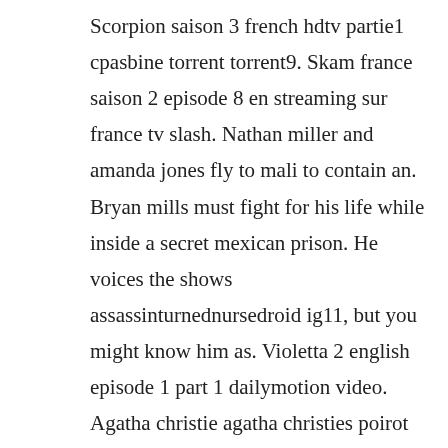Scorpion saison 3 french hdtv partie1 cpasbine torrent torrent9. Skam france saison 2 episode 8 en streaming sur france tv slash. Nathan miller and amanda jones fly to mali to contain an. Bryan mills must fight for his life while inside a secret mexican prison. He voices the shows assassinturnednursedroid ig11, but you might know him as. Violetta 2 english episode 1 part 1 dailymotion video. Agatha christie agatha christies poirot season 2 episode 1 peril at end house by agatha christie. Thursday, january 9, 2020the lovebirds 2020 torrent download hd.